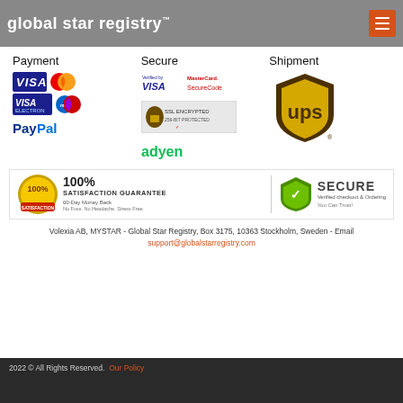global star registry™
Payment
[Figure (logo): VISA, MasterCard, Visa Electron, Maestro, PayPal payment logos]
Secure
[Figure (logo): Verified by VISA, MasterCard SecureCode, SSL secure seal, Adyen logos]
Shipment
[Figure (logo): UPS shipping logo]
[Figure (infographic): 100% Satisfaction Guarantee badge and Secure Verified checkout shield]
Volexia AB, MYSTAR - Global Star Registry, Box 3175, 10363 Stockholm, Sweden - Email support@globalstarregistry.com
2022 © All Rights Reserved. Our Policy